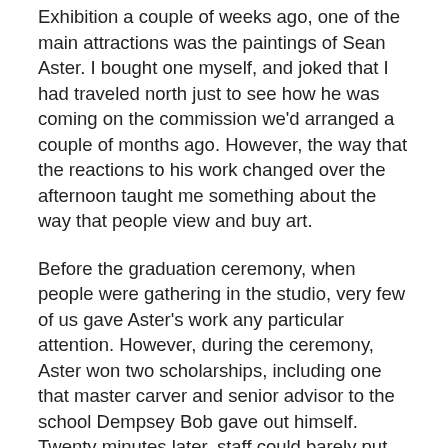Exhibition a couple of weeks ago, one of the main attractions was the paintings of Sean Aster. I bought one myself, and joked that I had traveled north just to see how he was coming on the commission we'd arranged a couple of months ago. However, the way that the reactions to his work changed over the afternoon taught me something about the way that people view and buy art.
Before the graduation ceremony, when people were gathering in the studio, very few of us gave Aster's work any particular attention. However, during the ceremony, Aster won two scholarships, including one that master carver and senior advisor to the school Dempsey Bob gave out himself. Twenty minutes later, staff could barely put up the little red stickers indicating a sale fast enough. Suddenly, everybody wanted one of his works.
This change had nothing to do with the quality of the